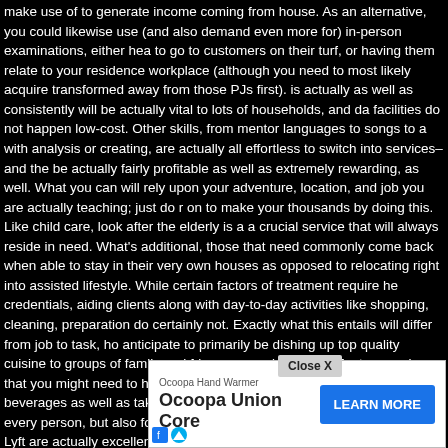make use of to generate income coming from house. As an alternative, you could likewise use (and also demand even more for) in-person examinations, either heading to go to customers on their turf, or having them relate to your residence workplace (although you need to most likely acquire transformed away from those PJs first). is actually as well as consistently will be actually vital to lots of households, and da facilities do not happen low-cost. Other skills, from mentor languages to songs to a with analysis or creating, are actually all effortless to switch into services– and the be actually fairly profitable as well as extremely rewarding, as well. What you can will rely upon your adventure, location, and job you are actually teaching; just do r on to make your thousands by doing this. Like child care, look after the elderly is a a crucial service that will always reside in need. What's additional, those that need commonly come back when able to stay in their very own houses as opposed to relocating right into assisted lifestyle. While certain factors of treatment require he credentials, aiding clients along with day-to-day activities like shopping, cleaning, preparation do certainly not. Exactly what this entails will differ from job to task, ho anticipate to primarily be dishing up top quality cuisine to groups of family and frie supper celebrations. Just remember that you might need to have to work with wai provide food items and also beverages as well as take care of visitors. The gig eco condition isn't for every person, but also for the appropriate person, steering for Ub even Lyft are actually excellent methods to create a little cash. Have you ever befo found a furniture piece on Craigslist that possesses potential if someone would jus provide it a little TLC? If you are actually especially helpful, you could possibly mo to second hand shops as well as yard sales, grab items at affordable, repair all of and switch all of them around for a greater rate. If you possess a great eye, you co search for valuables, rarities, and a lot more. Public auction sites like ebay may link you with a large audience appearing for your items. Proms, wedding celebratio ear their grea You can e rtain to your residence job on-loca
[Figure (other): Advertisement banner for Ocoopa Hand Warmer / Ocoopa Union Core product with 'LEARN MORE' button and 'Close X' button overlay]